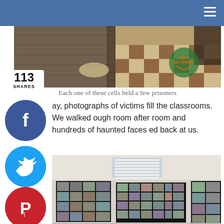[Figure (photo): Interior of prison cells with brick/stone walls and checkered tile floor, with 'Feet Do Travel' watermark]
Each one of these cells held a few prisoners
ay, photographs of victims fill the classrooms. We walked ough room after room and hundreds of haunted faces ed back at us.
[Figure (photo): Room with walls covered in black-and-white portrait photographs of victims, displayed in large grid panels]